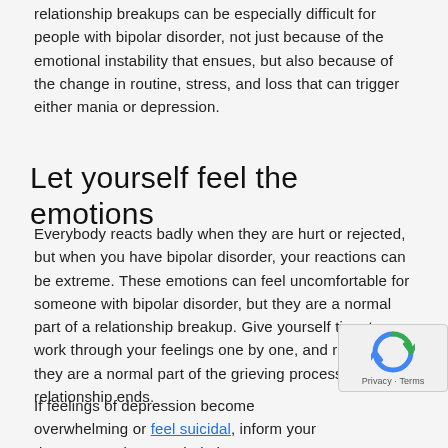relationship breakups can be especially difficult for people with bipolar disorder, not just because of the emotional instability that ensues, but also because of the change in routine, stress, and loss that can trigger either mania or depression.
Let yourself feel the emotions
Everybody reacts badly when they are hurt or rejected, but when you have bipolar disorder, your reactions can be extreme. These emotions can feel uncomfortable for someone with bipolar disorder, but they are a normal part of a relationship breakup. Give yourself time to work through your feelings one by one, and remember they are a normal part of the grieving process when a relationship ends.
If feelings of depression become overwhelming or feel suicidal, inform your doctor or seek urgent help by